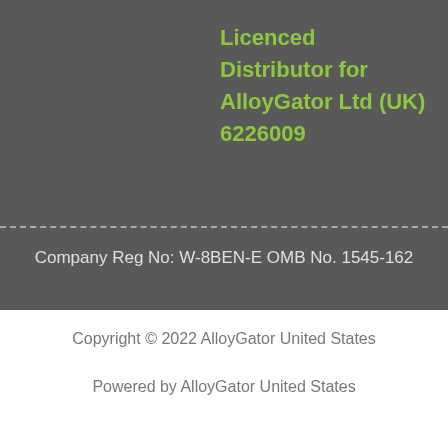Licenced Distributor for AlloyGator Ltd (UK) 6226009
Company Reg No: W-8BEN-E OMB No. 1545-162
Copyright © 2022 AlloyGator United States
Powered by AlloyGator United States